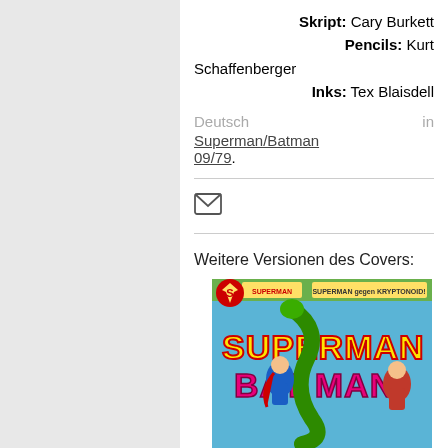Skript: Cary Burkett
Pencils: Kurt Schaffenberger
Inks: Tex Blaisdell
Deutsch in Superman/Batman 09/79.
[Figure (other): Mail/envelope icon]
Weitere Versionen des Covers:
[Figure (illustration): Superman/Batman comic book cover showing Superman and Batman with a green snake-like creature. Title reads SUPERMAN BATMAN in large letters.]